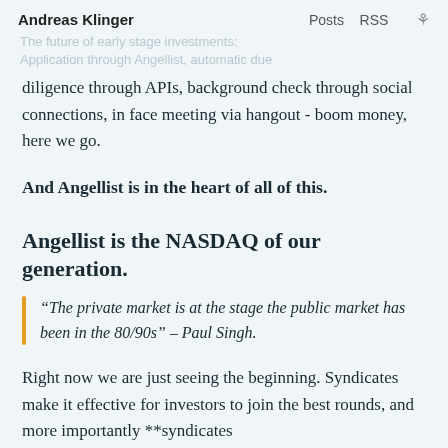Andreas Klinger | Posts RSS
The future of early stage investments: Application through Angellist, automatic due diligence through APIs, background check through social connections, in face meeting via hangout - boom money, here we go.
And Angellist is in the heart of all of this.
Angellist is the NASDAQ of our generation.
“The private market is at the stage the public market has been in the 80/90s” – Paul Singh.
Right now we are just seeing the beginning. Syndicates make it effective for investors to join the best rounds, and more importantly **syndicates